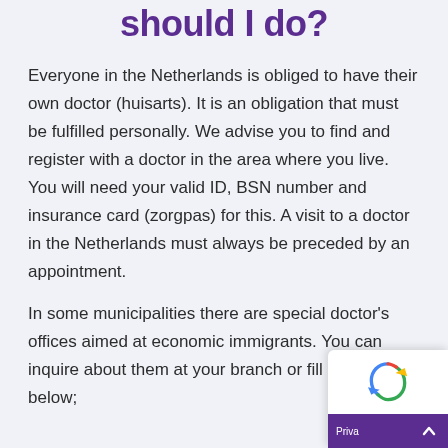should I do?
Everyone in the Netherlands is obliged to have their own doctor (huisarts). It is an obligation that must be fulfilled personally. We advise you to find and register with a doctor in the area where you live. You will need your valid ID, BSN number and insurance card (zorgpas) for this. A visit to a doctor in the Netherlands must always be preceded by an appointment.
In some municipalities there are special doctor's offices aimed at economic immigrants. You can inquire about them at your branch or fill out the below;